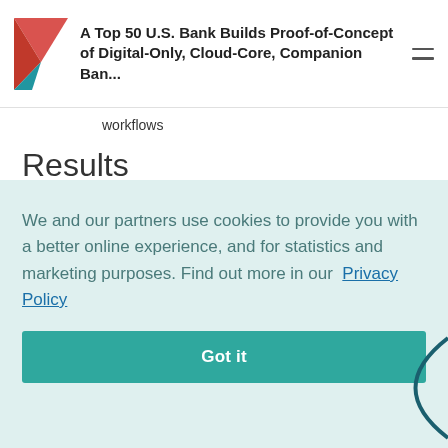A Top 50 U.S. Bank Builds Proof-of-Concept of Digital-Only, Cloud-Core, Companion Ban...
workflows
Results
Levvvel partnered with Finxact, Apiture, and Savana to build a functional digital bank proof-of-concept in just 106 days. This included operational instances of Finxact's native cloud core, Apiture's customer-facing workflows, Savana's automated new account opening tools for the bank's back-office team, and we have...
We and our partners use cookies to provide you with a better online experience, and for statistics and marketing purposes. Find out more in our Privacy Policy
Got it